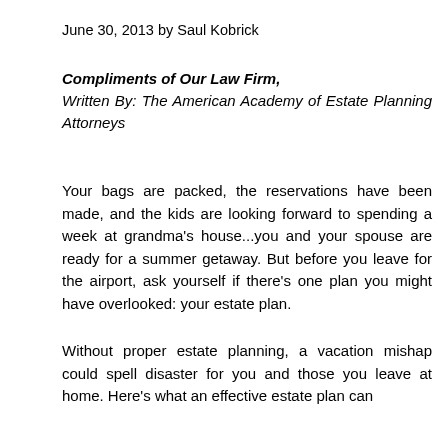June 30, 2013 by Saul Kobrick
Compliments of Our Law Firm,
Written By: The American Academy of Estate Planning Attorneys
Your bags are packed, the reservations have been made, and the kids are looking forward to spending a week at grandma's house...you and your spouse are ready for a summer getaway. But before you leave for the airport, ask yourself if there's one plan you might have overlooked: your estate plan.
Without proper estate planning, a vacation mishap could spell disaster for you and those you leave at home. Here's what an effective estate plan can